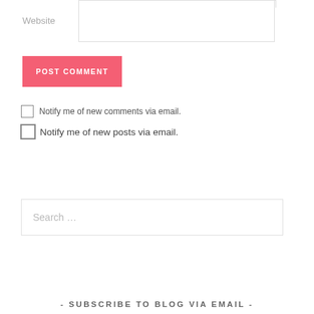Website
POST COMMENT
Notify me of new comments via email.
Notify me of new posts via email.
Search …
- SUBSCRIBE TO BLOG VIA EMAIL -